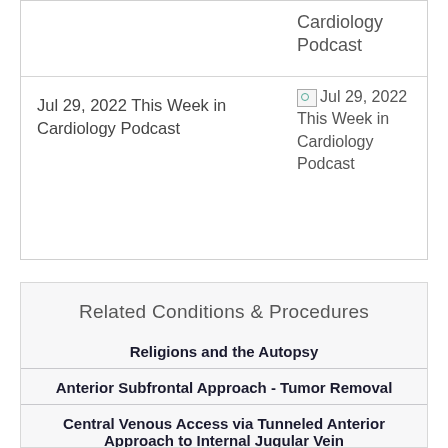Cardiology Podcast
Jul 29, 2022 This Week in Cardiology Podcast
[Figure (other): Broken image placeholder for Jul 29, 2022 This Week in Cardiology Podcast thumbnail]
Related Conditions & Procedures
Religions and the Autopsy
Anterior Subfrontal Approach - Tumor Removal
Central Venous Access via Tunneled Anterior Approach to Internal Jugular Vein